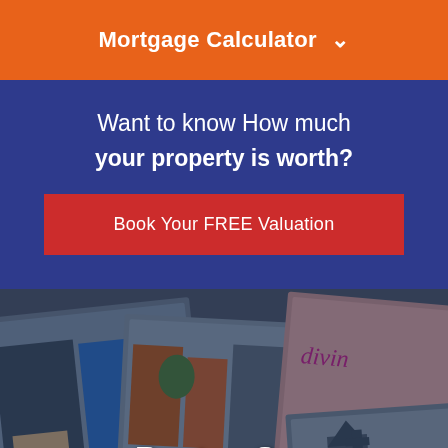Mortgage Calculator ▾
Want to know How much your property is worth?
Book Your FREE Valuation
[Figure (photo): Collage of street-level and town photographs of Boston Spa area, showing shops and a church, overlaid with angled photo borders and a dark blue tint]
Boston Spa Area Guide